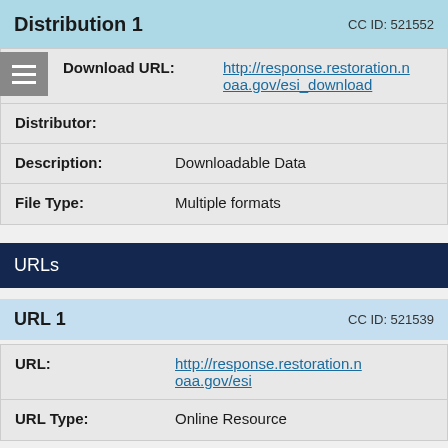Distribution 1   CC ID: 521552
| Field | Value |
| --- | --- |
| Download URL: | http://response.restoration.noaa.gov/esi_download |
| Distributor: |  |
| Description: | Downloadable Data |
| File Type: | Multiple formats |
URLs
URL 1   CC ID: 521539
| Field | Value |
| --- | --- |
| URL: | http://response.restoration.noaa.gov/esi |
| URL Type: | Online Resource |